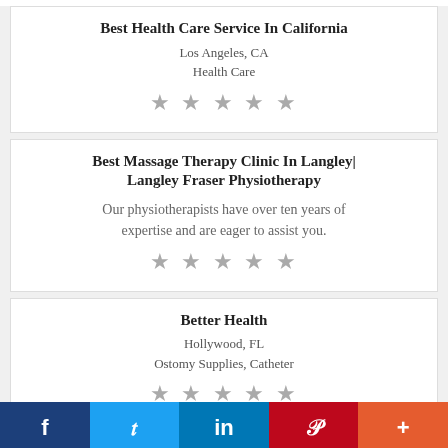Best Health Care Service In California
Los Angeles, CA
Health Care
[Figure (other): 5 grey stars rating]
Best Massage Therapy Clinic In Langley| Langley Fraser Physiotherapy
Our physiotherapists have over ten years of expertise and are eager to assist you.
[Figure (other): 5 grey stars rating]
Better Health
Hollywood, FL
Ostomy Supplies, Catheter
[Figure (other): 5 grey stars rating]
f  t  in  P  +